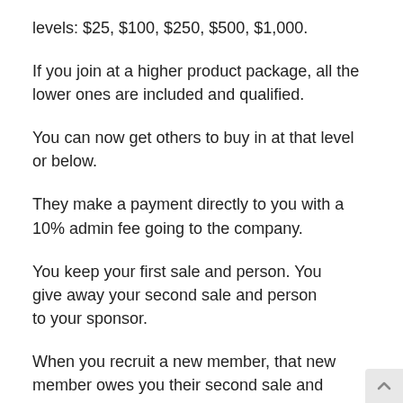levels: $25, $100, $250, $500, $1,000.
If you join at a higher product package, all the lower ones are included and qualified.
You can now get others to buy in at that level or below.
They make a payment directly to you with a 10% admin fee going to the company.
You keep your first sale and person. You give away your second sale and person to your sponsor.
When you recruit a new member, that new member owes you their second sale and person.